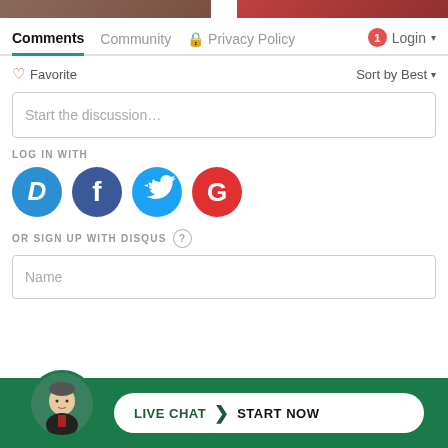[Figure (screenshot): Top image bar with two partial images (brown/red tones)]
Comments  Community  🔒 Privacy Policy  1  Login ▾
♡ Favorite    Sort by Best ▾
Start the discussion…
LOG IN WITH
[Figure (illustration): Social login icons: Disqus (D, blue), Facebook (f, dark blue), Twitter (bird, light blue), Google (G, red)]
OR SIGN UP WITH DISQUS ?
Name
[Figure (infographic): Live chat banner with man's portrait, green background, and white pill button: LIVE CHAT > START NOW]